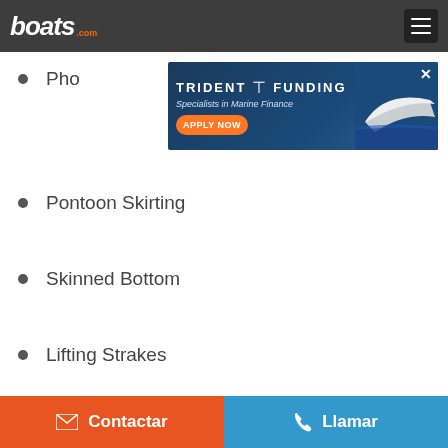boats.com
[Figure (screenshot): Trident Funding advertisement banner - 'Specialists in Marine Finance' with APPLY NOW button and boat image]
Pho...
Pontoon Skirting
Skinned Bottom
Lifting Strakes
Hydraulic Tilt Steering
Contactar  Llamar